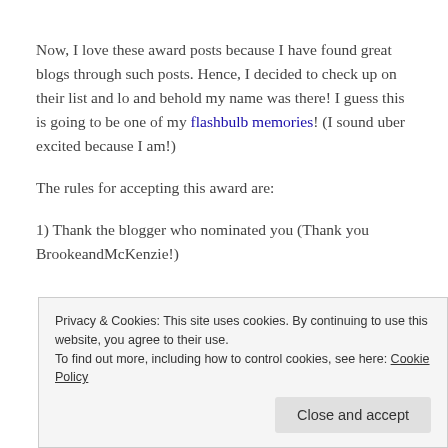Now, I love these award posts because I have found great blogs through such posts. Hence, I decided to check up on their list and lo and behold my name was there! I guess this is going to be one of my flashbulb memories! (I sound uber excited because I am!)
The rules for accepting this award are:
1) Thank the blogger who nominated you (Thank you BrookeandMcKenzie!)
Privacy & Cookies: This site uses cookies. By continuing to use this website, you agree to their use. To find out more, including how to control cookies, see here: Cookie Policy